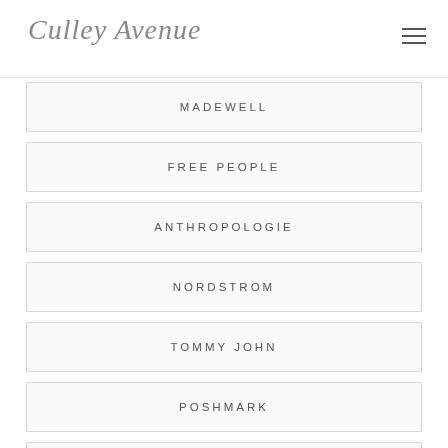Culley Avenue
MADEWELL
FREE PEOPLE
ANTHROPOLOGIE
NORDSTROM
TOMMY JOHN
POSHMARK
EBAY